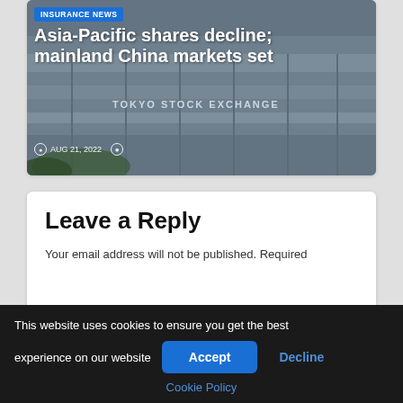[Figure (photo): Tokyo Stock Exchange building exterior photo used as article background image]
Asia-Pacific shares decline; mainland China markets set
AUG 21, 2022
Leave a Reply
Your email address will not be published. Required
This website uses cookies to ensure you get the best experience on our website
Accept
Decline
Cookie Policy